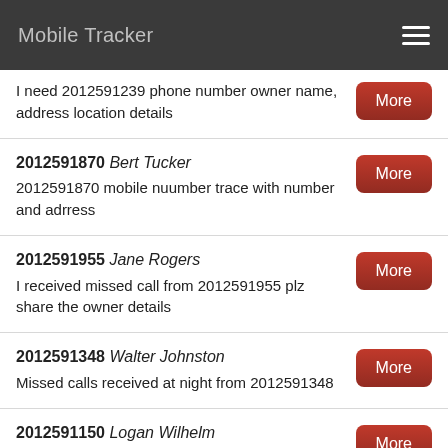Mobile Tracker
I need 2012591239 phone number owner name, address location details
2012591870 Bert Tucker
2012591870 mobile nuumber trace with number and adrress
2012591955 Jane Rogers
I received missed call from 2012591955 plz share the owner details
2012591348 Walter Johnston
Missed calls received at night from 2012591348
2012591150 Logan Wilhelm
Want to trace current gps location of